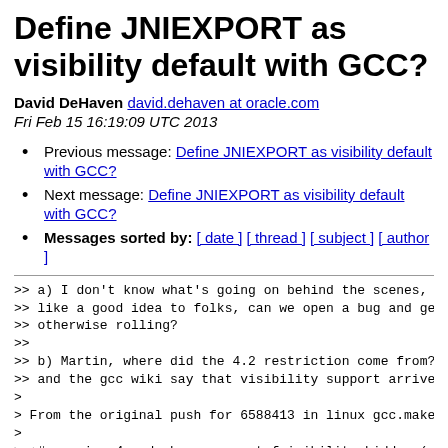Define JNIEXPORT as visibility default with GCC?
David DeHaven david.dehaven at oracle.com
Fri Feb 15 16:19:09 UTC 2013
Previous message: Define JNIEXPORT as visibility default with GCC?
Next message: Define JNIEXPORT as visibility default with GCC?
Messages sorted by: [ date ] [ thread ] [ subject ] [ author ]
>> a) I don't know what's going on behind the scenes, but
>> like a good idea to folks, can we open a bug and get i
>> otherwise rolling?
>>
>> b) Martin, where did the 4.2 restriction come from?  b
>> and the gcc wiki say that visibility support arrived i
>
> From the original push for 6588413 in linux gcc.make:
>
> +# version 4 and above support fvisibility=hidden (matc
> +# except 4.1.2 gives pointless warnings that can't be
>